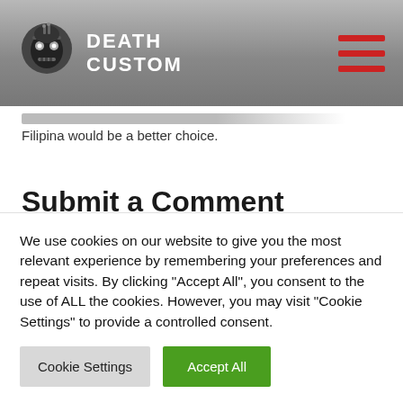DEATH CUSTOM
Filipina would be a better choice.
Submit a Comment
Your email address will not be published. Required fields are marked *
We use cookies on our website to give you the most relevant experience by remembering your preferences and repeat visits. By clicking “Accept All”, you consent to the use of ALL the cookies. However, you may visit "Cookie Settings" to provide a controlled consent.